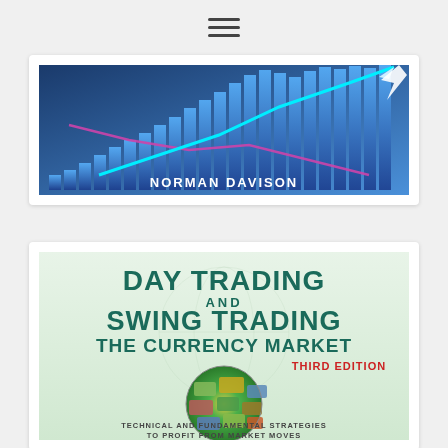[Figure (other): Hamburger menu icon with three horizontal lines]
[Figure (illustration): Financial trading chart with rising blue bar chart and upward arrow, with title 'NORMAN DAVISON' at bottom]
[Figure (illustration): Book cover: 'DAY TRADING AND SWING TRADING THE CURRENCY MARKET THIRD EDITION - Technical and Fundamental Strategies to Profit from Market Moves' with globe made of currency notes]